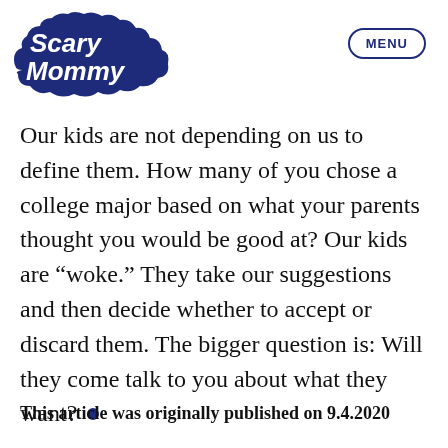[Figure (logo): Scary Mommy logo in dark navy blue bubble lettering on a cloud-shaped background]
MENU
Our kids are not depending on us to define them. How many of you chose a college major based on what your parents thought you would be good at? Our kids are “woke.” They take our suggestions and then decide whether to accept or discard them. The bigger question is: Will they come talk to you about what they want? •
This article was originally published on 9.4.2020